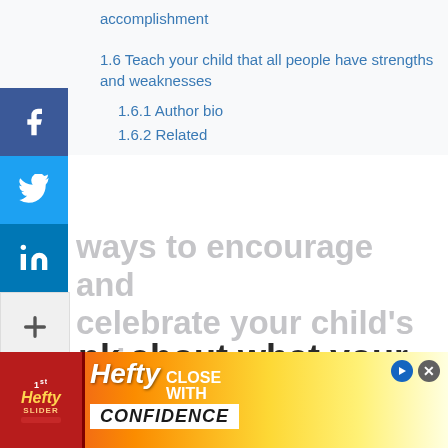accomplishment
1.6 Teach your child that all people have strengths and weaknesses
1.6.1 Author bio
1.6.2 Related
[Figure (other): Social media share buttons: Facebook, Twitter, LinkedIn, and a '+' more button on the left side of the page]
ways to encourage and celebrate your child's uniqueness
Think about what your dreams and goals are for your child
Do you want your child to be similar to you?  Would
[Figure (other): Hefty Slider advertisement banner with 'Hefty CLOSE WITH CONFIDENCE' text]